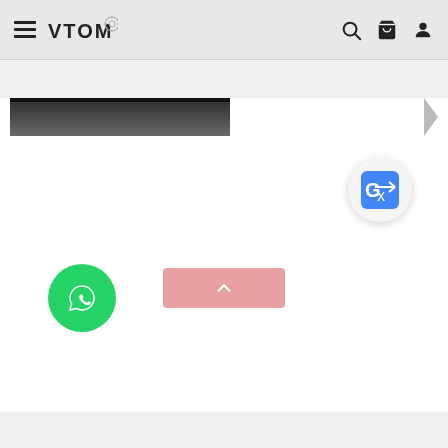VTOM — navigation bar with hamburger menu, logo, search, cart, and user icons
Product | Description | What's in the box
[Figure (screenshot): Product image strip partially visible at top of content area, showing a dark gradient image with a small arrow/triangle on the right side]
[Figure (logo): Google Translate floating button (blue Gz icon on light gray circular background)]
[Figure (logo): WhatsApp floating button (white phone/chat icon on green circular background)]
[Figure (other): Pink scroll-to-top button with upward chevron arrow, centered near bottom of page]